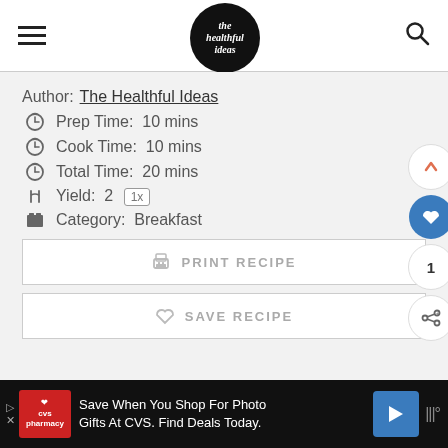the healthful ideas — navigation header with hamburger menu and search icon
Author: The Healthful Ideas
Prep Time: 10 mins
Cook Time: 10 mins
Total Time: 20 mins
Yield: 2 1x
Category: Breakfast
PRINT RECIPE
SAVE RECIPE
Save When You Shop For Photo Gifts At CVS. Find Deals Today.